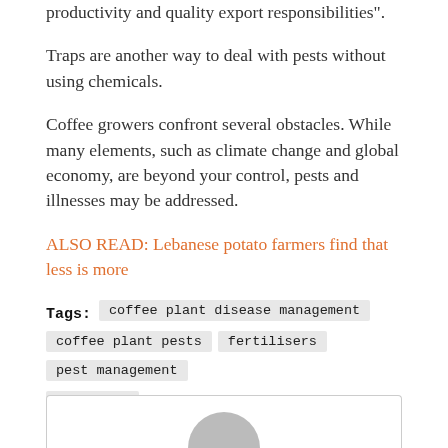productivity and quality export responsibilities".
Traps are another way to deal with pests without using chemicals.
Coffee growers confront several obstacles. While many elements, such as climate change and global economy, are beyond your control, pests and illnesses may be addressed.
ALSO READ: Lebanese potato farmers find that less is more
Tags: coffee plant disease management  coffee plant pests  fertilisers  pest management  pesticide
[Figure (other): Partial circular avatar/profile image at the bottom of the page inside a card box outline]